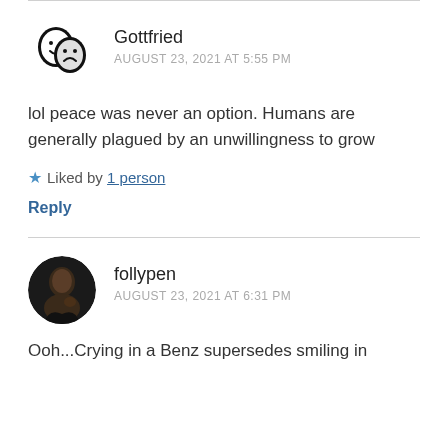Gottfried
AUGUST 23, 2021 AT 5:55 PM
lol peace was never an option. Humans are generally plagued by an unwillingness to grow
Liked by 1 person
Reply
follypen
AUGUST 23, 2021 AT 6:31 PM
Ooh...Crying in a Benz supersedes smiling in